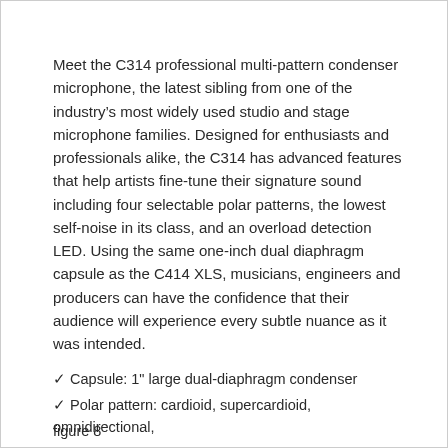Meet the C314 professional multi-pattern condenser microphone, the latest sibling from one of the industry’s most widely used studio and stage microphone families. Designed for enthusiasts and professionals alike, the C314 has advanced features that help artists fine-tune their signature sound including four selectable polar patterns, the lowest self-noise in its class, and an overload detection LED. Using the same one-inch dual diaphragm capsule as the C414 XLS, musicians, engineers and producers can have the confidence that their audience will experience every subtle nuance as it was intended.
✓ Capsule: 1" large dual-diaphragm condenser
✓ Polar pattern: cardioid, supercardioid, omnidirectional,
figure 8